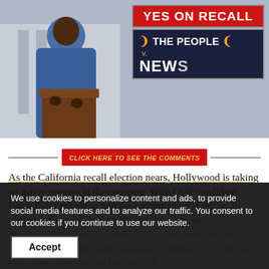[Figure (photo): Person at podium in blue suit with 'YES ON RECALL / THE PEOPLE v. NEWSOM' signs visible behind them]
CLICK HERE TO SEE THE COMMENTS
As the California recall election nears, Hollywood is taking an active interest in the outcome. With GOP candidate Larry Elder poised to win the governorship if the recall succeeds to oust Governor Gavin Newsom, celebrities are not just voicing their support for Newsom, they're also attacking the Republican candidate. Thankfully, Elder does have some stars behind him as well.
We use cookies to personalize content and ads, to provide social media features and to analyze our traffic. You consent to our cookies if you continue to use our website.
Accept